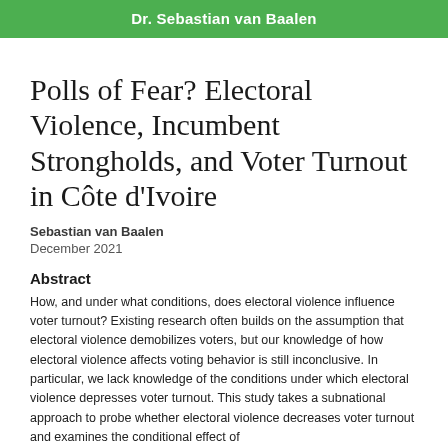Dr. Sebastian van Baalen
Polls of Fear? Electoral Violence, Incumbent Strongholds, and Voter Turnout in Côte d'Ivoire
Sebastian van Baalen
December 2021
Abstract
How, and under what conditions, does electoral violence influence voter turnout? Existing research often builds on the assumption that electoral violence demobilizes voters, but our knowledge of how electoral violence affects voting behavior is still inconclusive. In particular, we lack knowledge of the conditions under which electoral violence depresses voter turnout. This study takes a subnational approach to probe whether electoral violence decreases voter turnout and examines the conditional effect of